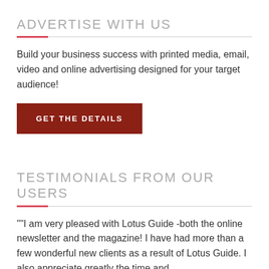ADVERTISE WITH US
Build your business success with printed media, email, video and online advertising designed for your target audience!
GET THE DETAILS
TESTIMONIALS FROM OUR USERS
""I am very pleased with Lotus Guide -both the online newsletter and the magazine! I have had more than a few wonderful new clients as a result of Lotus Guide. I also appreciate greatly the time and